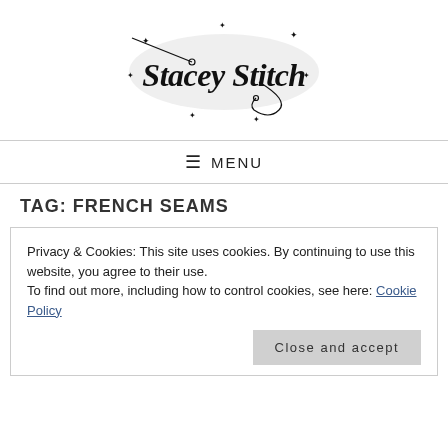[Figure (logo): Stacey Stitch logo with decorative script text, needle and thread illustration, and sparkle decorations on a light gray oval background]
≡ MENU
TAG: FRENCH SEAMS
Privacy & Cookies: This site uses cookies. By continuing to use this website, you agree to their use.
To find out more, including how to control cookies, see here: Cookie Policy
Close and accept